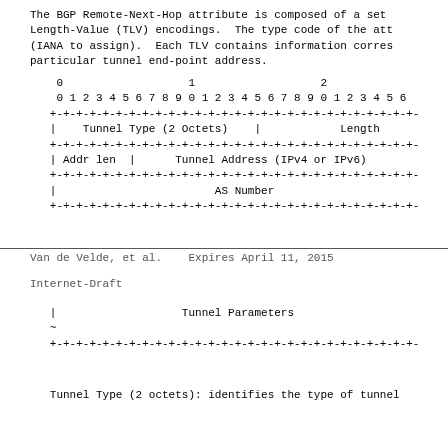The BGP Remote-Next-Hop attribute is composed of a set
Length-Value (TLV) encodings.  The type code of the att
(IANA to assign).  Each TLV contains information corres
particular tunnel end-point address.
[Figure (schematic): Bit-field diagram showing TLV encoding format with fields: Tunnel Type (2 Octets), Length, Addr len, Tunnel Address (IPv4 or IPv6), AS Number]
Van de Velde, et al.    Expires April 11, 2015
Internet-Draft
[Figure (schematic): Continuation of TLV diagram showing Tunnel Parameters field]
Tunnel Type (2 octets): identifies the type of tunnel